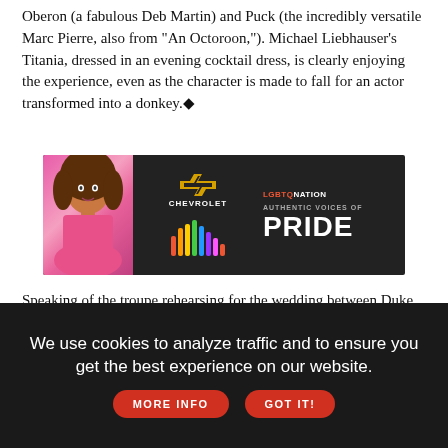Oberon (a fabulous Deb Martin) and Puck (the incredibly versatile Marc Pierre, also from "An Octoroon,"). Michael Liebhauser's Titania, dressed in an evening cocktail dress, is clearly enjoying the experience, even as the character is made to fall for an actor transformed into a donkey.◆
[Figure (infographic): Advertisement banner for Chevrolet and LGBTQ Nation Authentic Voices of Pride. Dark background with a woman in pink outfit on the left, Chevrolet bowtie logo and CHEVROLET text in center-left, colorful vertical bars (equalizer-style) in rainbow colors in center, and LGBTQ NATION / AUTHENTIC VOICES OF / PRIDE text on right.]
Speaking of the troupe rehearsing for the wedding between Duke Theseus' (Taavon Gamble, Trinity Repertory Company) and Hippolyta (Katie Flanagan), both Tony Estrella (Bottom) and newcomer to Gamm Zachary Gibb are having the most fun; so much so that the rest of the troupe has much work trying to keep up. Jim O'Brien is perhaps too little used as Snug, but makes the most of his short times onstage. But with such rich roles in "Dream," there's much to see and hear, and this cast is a solid one, giving not only new flair but some musical accents as well.◆
We use cookies to analyze traffic and to ensure you get the best experience on our website. MORE INFO GOT IT!